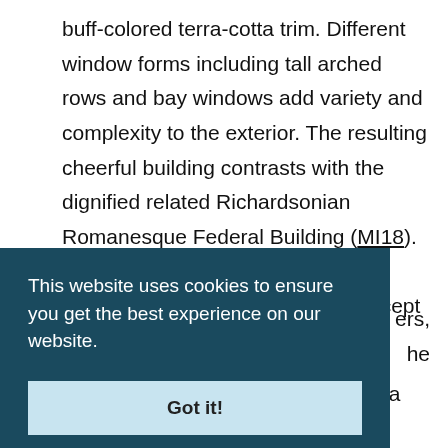buff-colored terra-cotta trim. Different window forms including tall arched rows and bay windows add variety and complexity to the exterior. The resulting cheerful building contrasts with the dignified related Richardsonian Romanesque Federal Building (MI18). Since its construction, the Pfister's exterior has changed very little, except for the large parking garage and cylindrical tower wind, with its bay windows and faceted ers, [partially obscured] he [partially obscured]
This website uses cookies to ensure you get the best experience on our website.
Got it!
rehouse the [obscured] architect ature is ple wainscoting, cast-iron railings, and a fine barrel-